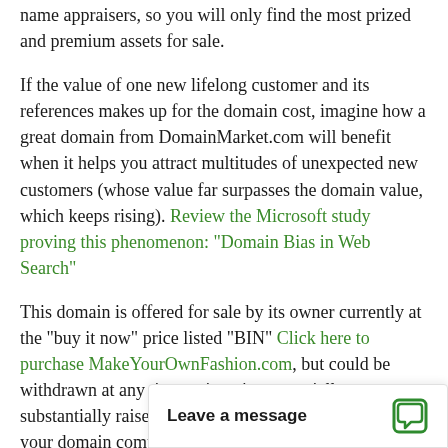name appraisers, so you will only find the most prized and premium assets for sale.
If the value of one new lifelong customer and its references makes up for the domain cost, imagine how a great domain from DomainMarket.com will benefit when it helps you attract multitudes of unexpected new customers (whose value far surpasses the domain value, which keeps rising). Review the Microsoft study proving this phenomenon: "Domain Bias in Web Search"
This domain is offered for sale by its owner currently at the "buy it now" price listed "BIN" Click here to purchase MakeYourOwnFashion.com, but could be withdrawn at any time or its price potentially substantially raised. Also, once sold, the next owner, your domain competi... again, especially to hi...